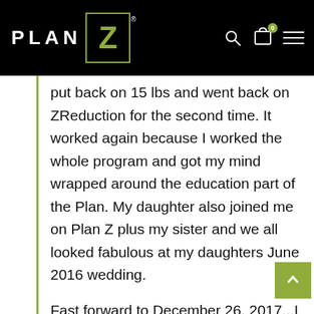PLAN Z (logo)
put back on 15 lbs and went back on ZReduction for the second time. It worked again because I worked the whole program and got my mind wrapped around the education part of the Plan. My daughter also joined me on Plan Z plus my sister and we all looked fabulous at my daughters June 2016 wedding.
Fast forward to December 26, 2017...I ate myself through Christmas and drank my red wine and cocktails where ever I went. I was